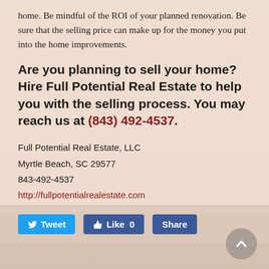home. Be mindful of the ROI of your planned renovation. Be sure that the selling price can make up for the money you put into the home improvements.
Are you planning to sell your home? Hire Full Potential Real Estate to help you with the selling process. You may reach us at (843) 492-4537.
Full Potential Real Estate, LLC
Myrtle Beach, SC 29577
843-492-4537
http://fullpotentialrealestate.com
[Figure (screenshot): Social media sharing buttons: Tweet (Twitter), Like 0 (Facebook), Share (Facebook)]